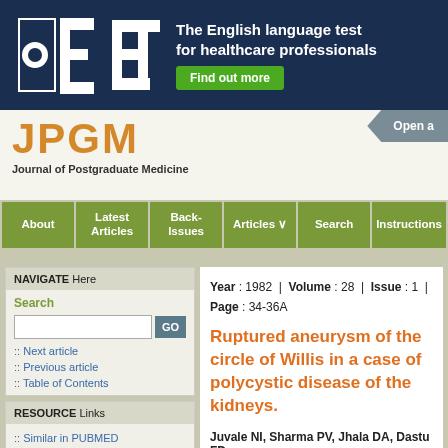[Figure (logo): OET banner advertisement — The English language test for healthcare professionals with Find out more button]
[Figure (logo): JPGM — Journal of Postgraduate Medicine logo with Open Access badge]
About | Latest Articles | Back-Issues | Articles | Search | Instructions
NAVIGATE Here
Search
:: Next article
:: Previous article
:: Table of Contents
RESOURCE Links
:: Similar in PUBMED
:: Search Pubmed for
Juvale N I
Year : 1982  |  Volume : 28  |  Issue : 1  |
Page : 34-36A
Ruptured aneurysm of the circle of Willis in a case of polycystic disease of the kidneys.
Juvale NI, Sharma PV, Jhala DA, Dastu FD